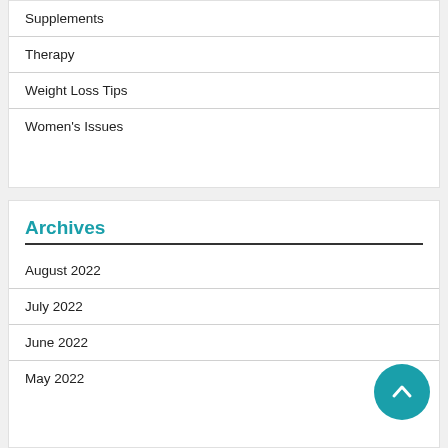Supplements
Therapy
Weight Loss Tips
Women's Issues
Archives
August 2022
July 2022
June 2022
May 2022